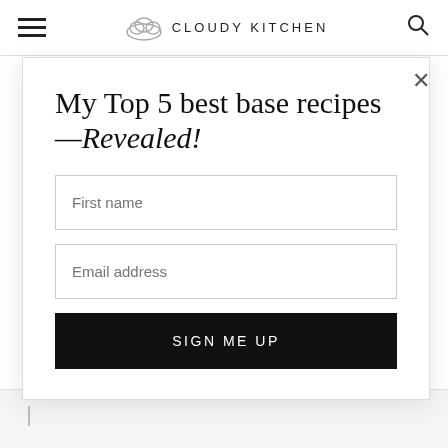CLOUDY KITCHEN
My Top 5 best base recipes —Revealed!
October 20, 2021 at 10:06 pm
Can the dough be frozen to bake later?
First name
Email address
SIGN ME UP
REPLY